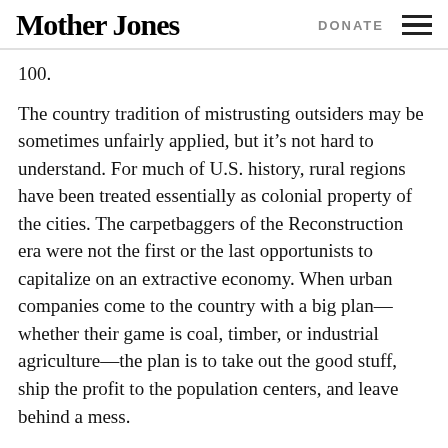Mother Jones | DONATE
100.
The country tradition of mistrusting outsiders may be sometimes unfairly applied, but it’s not hard to understand. For much of U.S. history, rural regions have been treated essentially as colonial property of the cities. The carpetbaggers of the Reconstruction era were not the first or the last opportunists to capitalize on an extractive economy. When urban companies come to the country with a big plan—whether their game is coal, timber, or industrial agriculture—the plan is to take out the good stuff, ship the profit to the population centers, and leave behind a mess.